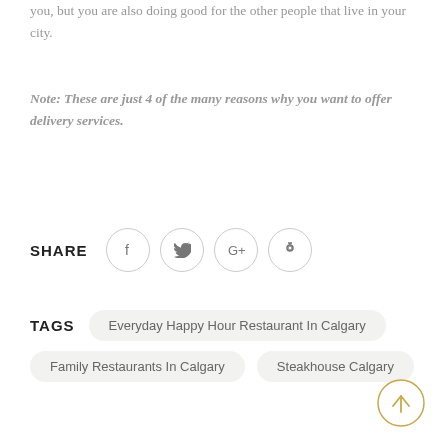you, but you are also doing good for the other people that live in your city.
Note: These are just 4 of the many reasons why you want to offer delivery services.
SHARE
TAGS
Everyday Happy Hour Restaurant In Calgary
Family Restaurants In Calgary
Steakhouse Calgary